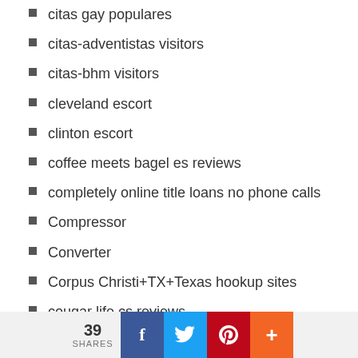citas gay populares
citas-adventistas visitors
citas-bhm visitors
cleveland escort
clinton escort
coffee meets bagel es reviews
completely online title loans no phone calls
Compressor
Converter
Corpus Christi+TX+Texas hookup sites
cougar life cs reviews
Couples Hookup Apps reviews
Dabble visitors
Dallas+TX+Texas hookup sites
Data Recovery
Dating kosten
39 SHARES